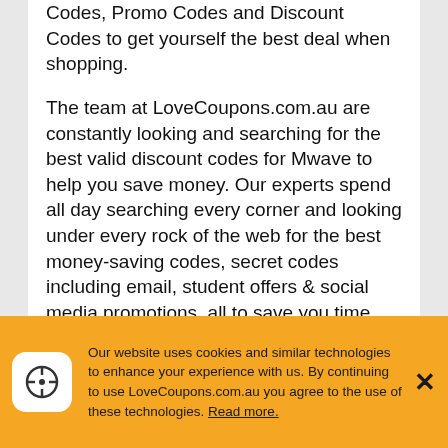Codes, Promo Codes and Discount Codes to get yourself the best deal when shopping.

The team at LoveCoupons.com.au are constantly looking and searching for the best valid discount codes for Mwave to help you save money. Our experts spend all day searching every corner and looking under every rock of the web for the best money-saving codes, secret codes including email, student offers & social media promotions, all to save you time and money when you shop at Mwave!

Stores like Mwave often offer Promotional Codes, Voucher Codes, Coupon Codes, Free Delivery Codes, Money Off Deals, Promotions,
Our website uses cookies and similar technologies to enhance your experience with us. By continuing to use LoveCoupons.com.au you agree to the use of these technologies. Read more.